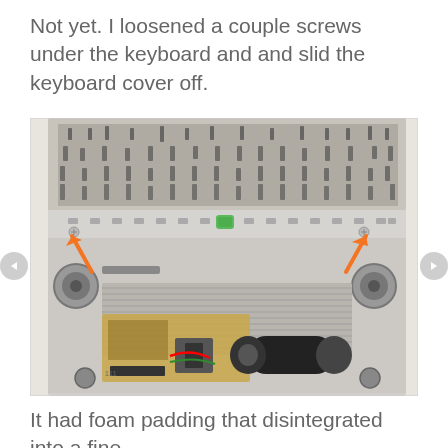Not yet. I loosened a couple screws under the keyboard and and slid the keyboard cover off.
[Figure (photo): Photo of the underside/interior of a vintage keyboard or typewriter-like device with the cover removed. Two orange arrows point to screws on the left and right sides. The device shows internal components including circuit boards, wires (red, green), and a cylindrical motor component. A green button is visible on the front panel.]
It had foam padding that disintegrated into a fine